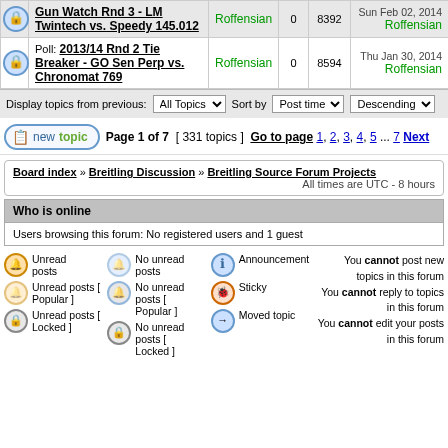|  | Topic | Author | Replies | Views | Last post |
| --- | --- | --- | --- | --- | --- |
| 🔒 | Gun Watch Rnd 3 - LM Twintech vs. Speedy 145.012 | Roffensian | 0 | 8392 | Sun Feb 02, 2014
Roffensian |
| 🔒 | Poll: 2013/14 Rnd 2 Tie Breaker - GO Sen Perp vs. Chronomat 769 | Roffensian | 0 | 8594 | Thu Jan 30, 2014
Roffensian |
Display topics from previous: All Topics  Sort by Post time  Descending
new topic  Page 1 of 7  [ 331 topics ]  Go to page 1, 2, 3, 4, 5 ... 7  Next
Board index » Breitling Discussion » Breitling Source Forum Projects
All times are UTC - 8 hours
Who is online
Users browsing this forum: No registered users and 1 guest
Unread posts | No unread posts | Announcement | You cannot post new topics in this forum
Unread posts [ Popular ] | No unread posts [ Popular ] | Sticky | You cannot reply to topics in this forum
Unread posts [ Locked ] | No unread posts [ Locked ] | Moved topic | You cannot edit your posts in this forum
You cannot delete...